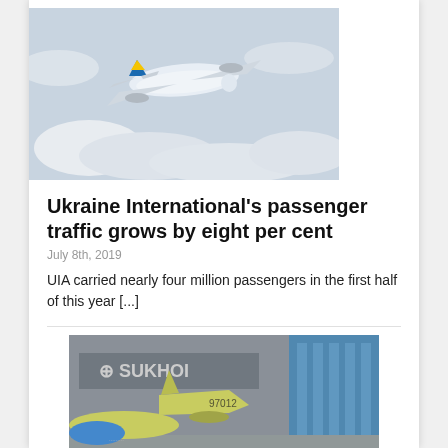[Figure (photo): Airplane in flight with blue and yellow tail livery against cloudy sky]
Ukraine International's passenger traffic grows by eight per cent
July 8th, 2019
UIA carried nearly four million passengers in the first half of this year [...]
[Figure (photo): Sukhoi aircraft on tarmac with yellow-green fuselage, number 97012, Sukhoi hangar in background]